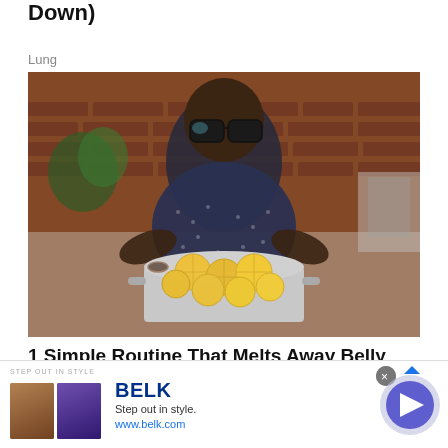Down)
Lung
[Figure (photo): Man with glasses holding a pot of lemon slices, seated in front of a brick wall background]
1 Simple Routine That Melts Away Belly Fat
[Figure (other): Advertisement banner for BELK - Step out in style. www.belk.com with two thumbnail images and a circular arrow button]